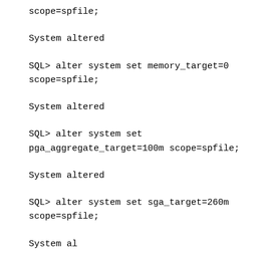scope=spfile;
System altered
SQL> alter system set memory_target=0 scope=spfile;
System altered
SQL> alter system set pga_aggregate_target=100m scope=spfile;
System altered
SQL> alter system set sga_target=260m scope=spfile;
System altered